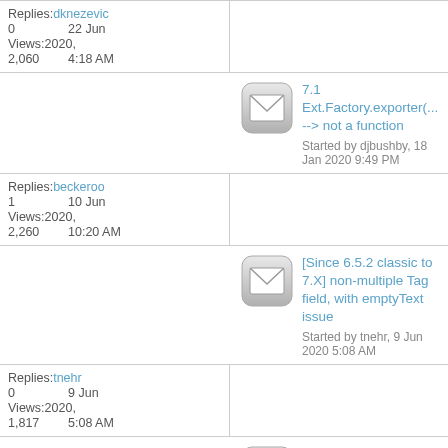Replies: dknezevic
0   22 Jun
Views: 2020,
2,060  4:18 AM
7.1 Ext.Factory.exporter(... --> not a function
Started by djbushby, 18 Jan 2020 9:49 PM
Replies: beckeroo
1   10 Jun
Views: 2020,
2,260  10:20 AM
[Since 6.5.2 classic to 7.X] non-multiple Tag field, with emptyText issue
Started by tnehr, 9 Jun 2020 5:08 AM
Replies: tnehr
0   9 Jun
Views: 2020,
1,817  5:08 AM
Toolbar Overflow Components Not Updating
Started by davmillar, 28 May 2020 1:36 PM